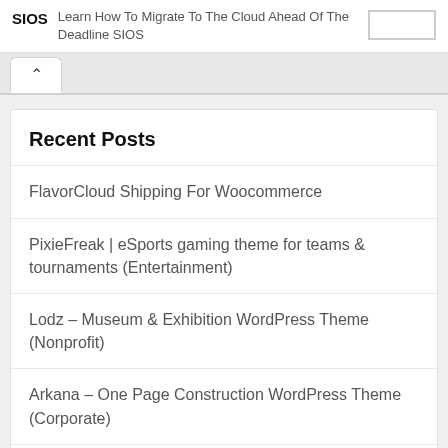SIOS Learn How To Migrate To The Cloud Ahead Of The Deadline SIOS
Recent Posts
FlavorCloud Shipping For Woocommerce
PixieFreak | eSports gaming theme for teams & tournaments (Entertainment)
Lodz – Museum & Exhibition WordPress Theme (Nonprofit)
Arkana – One Page Construction WordPress Theme (Corporate)